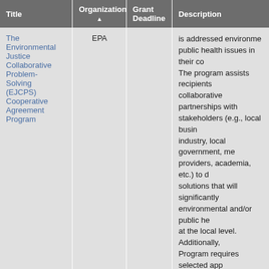| Title | Organization ▲ | Grant Deadline | Description |
| --- | --- | --- | --- |
| The Environmental Justice Collaborative Problem-Solving (EJCPS) Cooperative Agreement Program | EPA |  | is addressed environmental public health issues in their co... The program assists recipients collaborative partnerships with stakeholders (e.g., local business industry, local government, me providers, academia, etc.) to d solutions that will significantly environmental and/or public he at the local level. Additionally, Program requires selected app recipients, to use the EPA's En Justice Collaborative Problem- Model as part of their projects. aims to address local environm public health issues in a collab manner with various stakehold communities, industry, academ institutions, and others. Case S highlight some of the successf effective strategies of previous |
|  |  |  | The US Environmental Protect... |